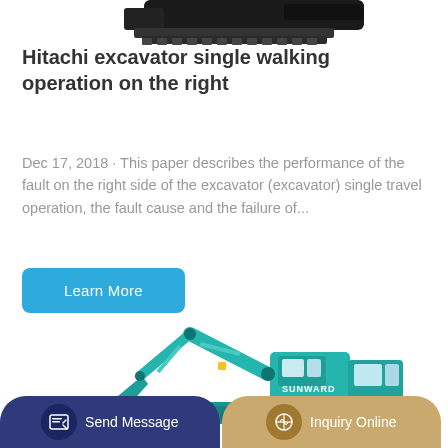[Figure (photo): Top portion of a dark-colored Hitachi excavator shown from top angle, partially cropped at the top of the page]
Hitachi excavator single walking operation on the right
Dec 17, 2018 · This paper describes the performance of the fault on the right side of the excavator (excavator) single travel operation, the fault cause and the failure of...
[Figure (other): Learn More button — blue rounded rectangle]
[Figure (photo): Teal/cyan Sunward branded excavator shown from side view, partially cropped at bottom of page]
Send Message  |  Inquiry Online